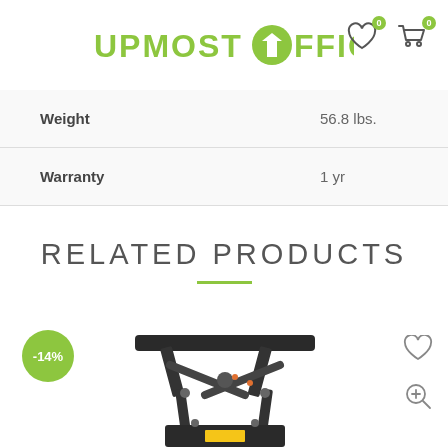UPMOST OFFICE
| Attribute | Value |
| --- | --- |
| Weight | 56.8 lbs. |
| Warranty | 1 yr |
RELATED PRODUCTS
[Figure (photo): Product image of a monitor arm/stand mechanism shown from a low angle, with a -14% discount badge, heart icon and zoom icon overlaid.]